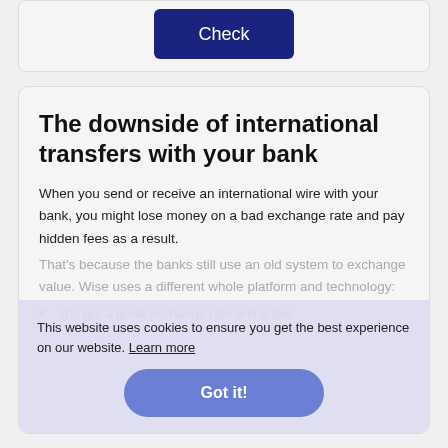[Figure (other): Blue 'Check' button on a light grey card panel at the top of the page]
The downside of international transfers with your bank
When you send or receive an international wire with your bank, you might lose money on a bad exchange rate and pay hidden fees as a result. That's because the banks still use an old system to exchange value. Wise uses a different technology:
This website uses cookies to ensure you get the best experience on our website. Learn more
Got it!
You get a great exchange rate and a low,